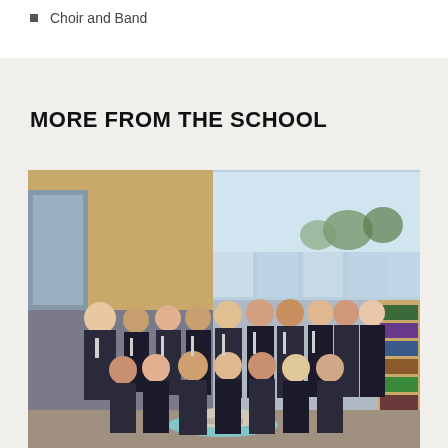Choir and Band
MORE FROM THE SCHOOL
[Figure (photo): Group photo of school students in dark navy blazer uniforms seated and standing in a modern school library/common room with large windows and bookshelves]